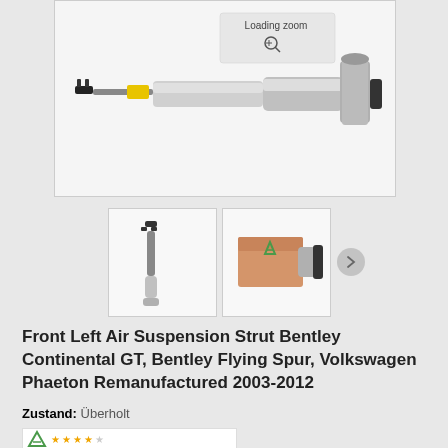[Figure (photo): Main product photo of a front left air suspension strut for Bentley/Volkswagen, shown horizontally with yellow label and chrome/black components. A 'Loading zoom' overlay is shown in the upper right area of the image.]
[Figure (photo): Thumbnail 1: Air suspension strut standing vertically, black and chrome components.]
[Figure (photo): Thumbnail 2: Air suspension strut with brown cardboard box packaging and green brand logo (A letter).]
Front Left Air Suspension Strut Bentley Continental GT, Bentley Flying Spur, Volkswagen Phaeton Remanufactured 2003-2012
Zustand: Überholt